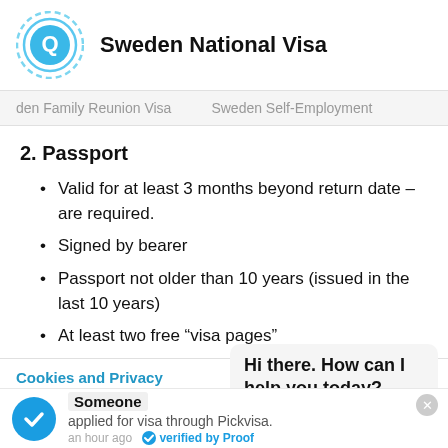[Figure (logo): Pickvisa circular logo with letter Q/arrow icon in blue]
Sweden National Visa
den Family Reunion Visa   Sweden Self-Employment
2. Passport
Valid for at least 3 months beyond return date – are required.
Signed by bearer
Passport not older than 10 years (issued in the last 10 years)
At least two free “visa pages”
Cookies and Privacy
We use cookies to offer you a b... serve targeted advertisements. By continuing to use this website, you
Hi there. How can I help you today?
Someone applied for visa through Pickvisa. an hour ago verified by Proof